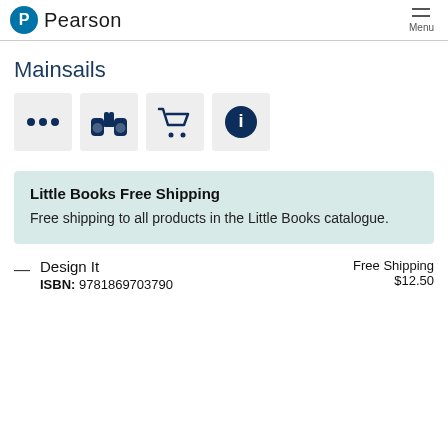Pearson  Menu
Mainsails
[Figure (infographic): Four icon buttons in a row: ellipsis (more options), binoculars (search/browse), shopping cart (add to cart), info (information circle)]
Little Books Free Shipping
Free shipping to all products in the Little Books catalogue.
Design It
ISBN: 9781869703790
Free Shipping
$12.50